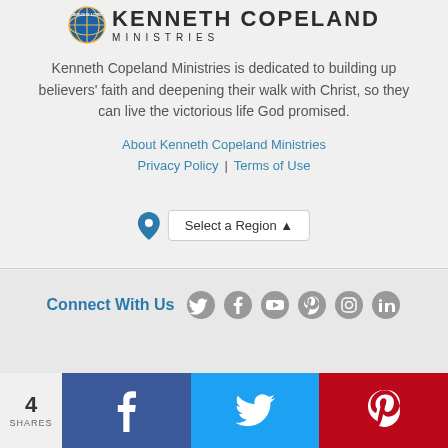[Figure (logo): Kenneth Copeland Ministries logo with globe icon and text]
Kenneth Copeland Ministries is dedicated to building up believers' faith and deepening their walk with Christ, so they can live the victorious life God promised.
About Kenneth Copeland Ministries
Privacy Policy | Terms of Use
[Figure (infographic): Select a Region dropdown button with location pin icon]
Connect With Us
[Figure (infographic): Social media icons: Twitter, Facebook, YouTube, Pinterest, Instagram, LinkedIn]
© 1997 - 2022 Eagle Mountain International Church Inc. Aka Kenneth Copeland Ministries. All Rights Reserved.
4 SHARES
[Figure (infographic): Share bar with Facebook, Twitter, and Pinterest share buttons]